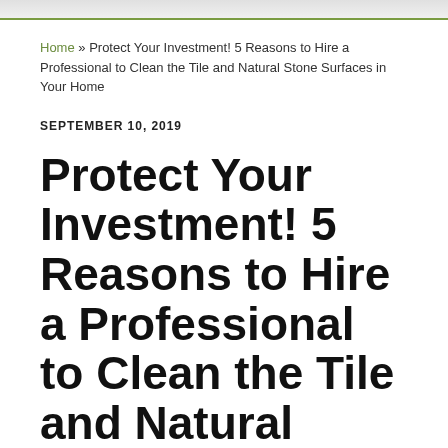Home » Protect Your Investment! 5 Reasons to Hire a Professional to Clean the Tile and Natural Stone Surfaces in Your Home
SEPTEMBER 10, 2019
Protect Your Investment! 5 Reasons to Hire a Professional to Clean the Tile and Natural Stone Surfaces in Your Home